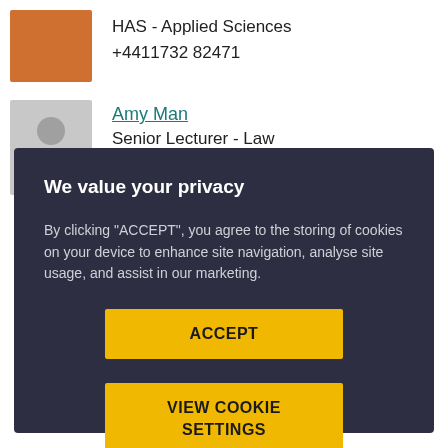HAS - Applied Sciences
+4411732 82471
[Figure (photo): Silhouette placeholder avatar for Amy Man]
Amy Man
Senior Lecturer - Law
FBL - Law
We value your privacy
By clicking "ACCEPT", you agree to the storing of cookies on your device to enhance site navigation, analyse site usage, and assist in our marketing.
ACCEPT
VIEW COOKIE SETTINGS